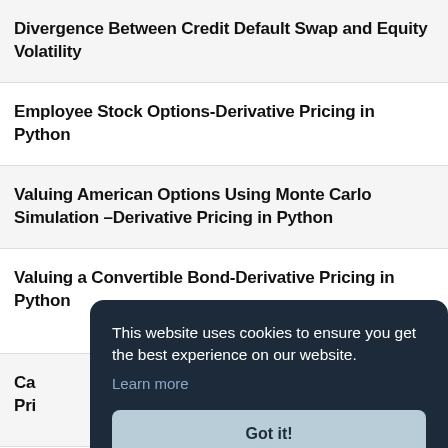Divergence Between Credit Default Swap and Equity Volatility
Employee Stock Options-Derivative Pricing in Python
Valuing American Options Using Monte Carlo Simulation –Derivative Pricing in Python
Valuing a Convertible Bond-Derivative Pricing in Python
Ca... Pri...
Are...
Performance Share Units-Derivative
[Figure (screenshot): Cookie consent popup overlay with dark navy background reading 'This website uses cookies to ensure you get the best experience on our website. Learn more' and a 'Got it!' button]